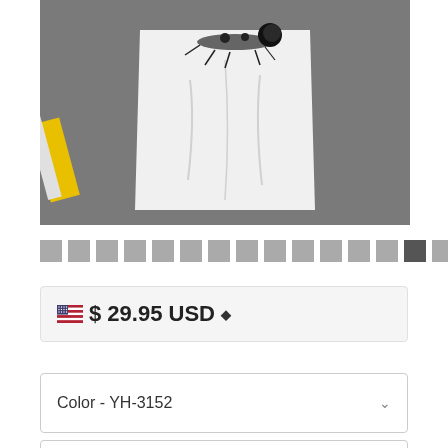[Figure (photo): White t-shirt with graphic print featuring a dark splatter/feather design and fur pom-pom detail, laid flat on a dark gray surface. Yellow object visible on left side.]
[Figure (other): Row of 16 small thumbnail image squares for product image carousel, mostly gray with one darker active thumbnail]
🇺🇸 $29.95 USD ⬡
Color -  YH-3152
Size -  XL